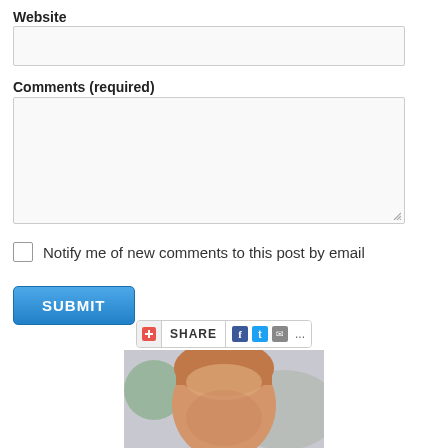Website
Comments (required)
Notify me of new comments to this post by email
SUBMIT
[Figure (infographic): Social share bar with plus icon, SHARE text, Facebook, Twitter, Email icons and ellipsis]
[Figure (photo): Partial photo of a person with light brown hair, face visible from forehead down, with blurred background]